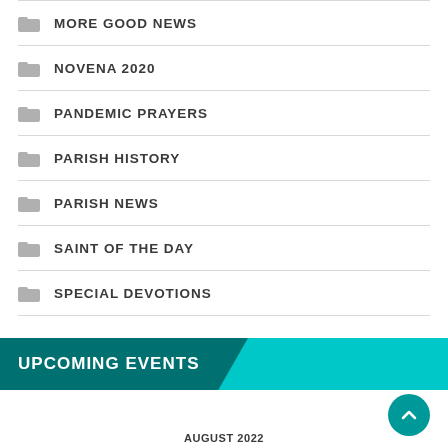MORE GOOD NEWS
NOVENA 2020
PANDEMIC PRAYERS
PARISH HISTORY
PARISH NEWS
SAINT OF THE DAY
SPECIAL DEVOTIONS
UPCOMING EVENTS
AUGUST 2022